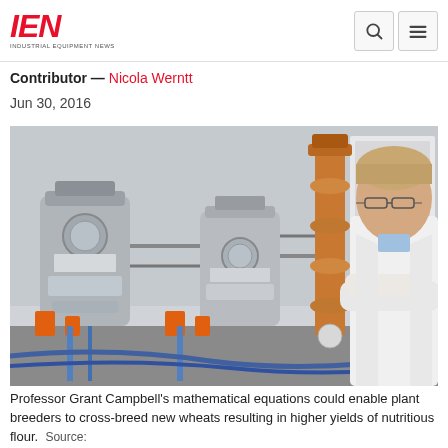IEN — Industrial Equipment News
Contributor — Nicola Werntt
Jun 30, 2016
[Figure (photo): Professor Grant Campbell in a white lab coat, standing with arms crossed in front of industrial laboratory equipment including stainless steel fermentation vessels and copper distillation columns.]
Professor Grant Campbell's mathematical equations could enable plant breeders to cross-breed new wheats resulting in higher yields of nutritious flour.  Source: University of Huddersfield